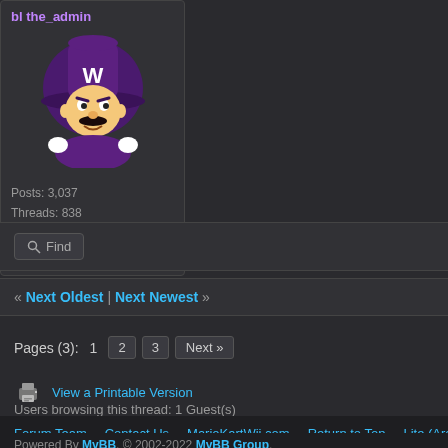[Figure (illustration): User profile card showing: username in purple, Waluigi avatar image, Posts: 3,037, Threads: 838, Joined: Feb 2018, Reputation: 79 (green)]
Find
« Next Oldest | Next Newest »
Pages (3): 1 2 3 Next »
View a Printable Version
Users browsing this thread: 1 Guest(s)
Forum Team   Contact Us   MarioKartWii.com   Return to Top   Lite (Archive) Mo
Powered By MyBB, © 2002-2022 MyBB Group.